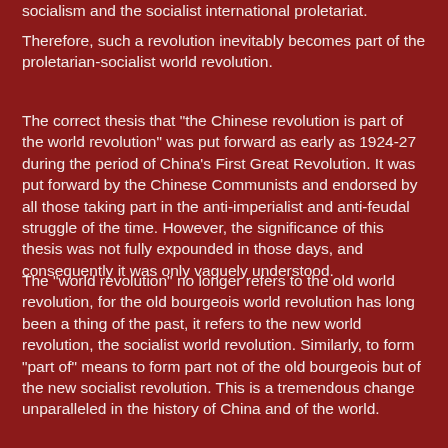socialism and the socialist international proletariat.
Therefore, such a revolution inevitably becomes part of the proletarian-socialist world revolution.
The correct thesis that "the Chinese revolution is part of the world revolution" was put forward as early as 1924-27 during the period of China's First Great Revolution. It was put forward by the Chinese Communists and endorsed by all those taking part in the anti-imperialist and anti-feudal struggle of the time. However, the significance of this thesis was not fully expounded in those days, and consequently it was only vaguely understood.
The "world revolution" no longer refers to the old world revolution, for the old bourgeois world revolution has long been a thing of the past, it refers to the new world revolution, the socialist world revolution. Similarly, to form "part of" means to form part not of the old bourgeois but of the new socialist revolution. This is a tremendous change unparalleled in the history of China and of the world.